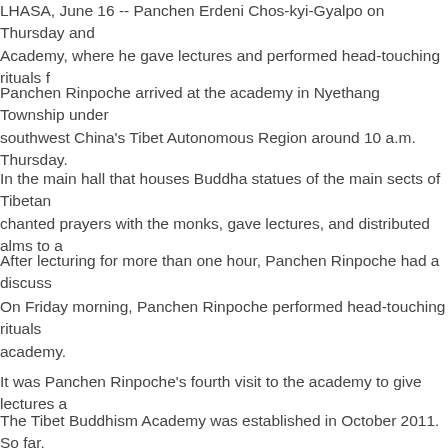LHASA, June 16 -- Panchen Erdeni Chos-kyi-Gyalpo on Thursday and Academy, where he gave lectures and performed head-touching rituals f
Panchen Rinpoche arrived at the academy in Nyethang Township under southwest China's Tibet Autonomous Region around 10 a.m. Thursday.
In the main hall that houses Buddha statues of the main sects of Tibetan chanted prayers with the monks, gave lectures, and distributed alms to a
After lecturing for more than one hour, Panchen Rinpoche had a discuss
On Friday morning, Panchen Rinpoche performed head-touching rituals academy.
It was Panchen Rinpoche's fourth visit to the academy to give lectures a
The Tibet Buddhism Academy was established in October 2011. So far, yuan (about 59.8 million U.S. dollars) in the building of the largest Buddh trained thousands of outstanding monks and nuns for the Tibetan Buddh
Gaesang Wangdue, vice president of the academy, said currently there a